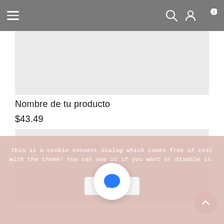Navigation bar with hamburger menu, search icon, user icon, and cart (0)
[Figure (other): Light gray product image placeholder (top)]
Nombre de tu producto
$43.49
[Figure (other): Light gray product image placeholder (bottom)]
This is a cookie consent dialog which comes free of cost with the theme! You can use it if you want or disable it.
[Figure (other): Chat bubble button with blue speech bubble icon]
[Figure (other): Scroll to top pink circular button with upward arrow]